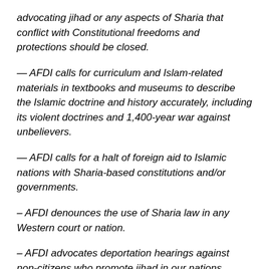advocating jihad or any aspects of Sharia that conflict with Constitutional freedoms and protections should be closed.
— AFDI calls for curriculum and Islam-related materials in textbooks and museums to describe the Islamic doctrine and history accurately, including its violent doctrines and 1,400-year war against unbelievers.
— AFDI calls for a halt of foreign aid to Islamic nations with Sharia-based constitutions and/or governments.
– AFDI denounces the use of Sharia law in any Western court or nation.
– AFDI advocates deportation hearings against non-citizens who promote jihad in our nations.
– AFDI calls for an immediate halt of immigration by